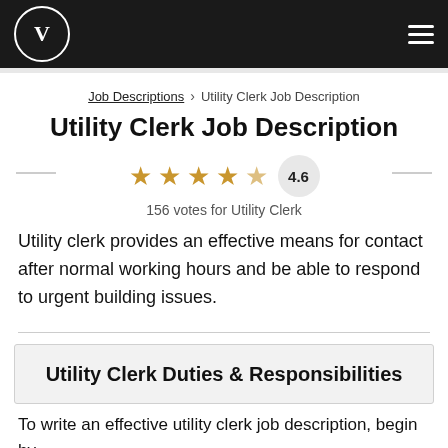V [logo] | hamburger menu
Job Descriptions > Utility Clerk Job Description
Utility Clerk Job Description
[Figure (other): 4.6 star rating with 5 gold stars (last one partial) and a circular badge showing 4.6]
156 votes for Utility Clerk
Utility clerk provides an effective means for contact after normal working hours and be able to respond to urgent building issues.
Utility Clerk Duties & Responsibilities
To write an effective utility clerk job description, begin by